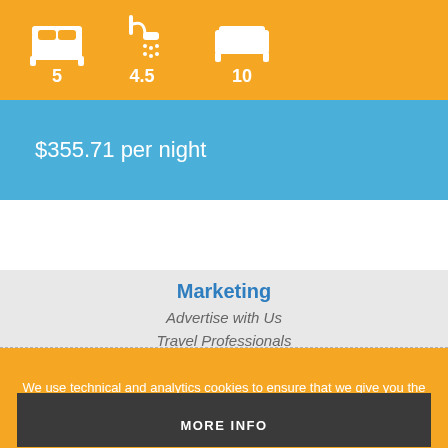[Figure (infographic): Orange bar with three icons (bed, shower, bed/couch) with values 5, 4.5, 10 in white]
$355.71 per night
Marketing
Advertise with Us
Travel Professionals
FAQs
We use technical and analytics cookies to ensure that we give you the best experience on our website.
ACCEPT & CLOSE
MORE INFO